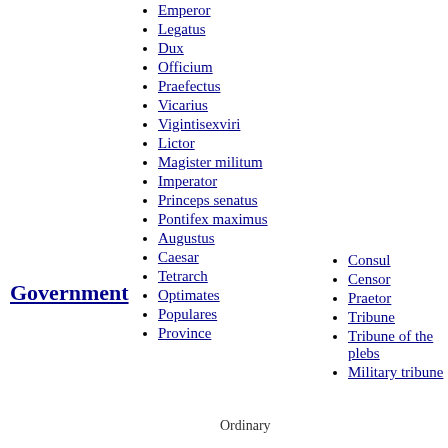Emperor
Legatus
Dux
Officium
Praefectus
Vicarius
Vigintisexviri
Government
Lictor
Magister militum
Imperator
Princeps senatus
Pontifex maximus
Augustus
Caesar
Tetrarch
Optimates
Populares
Province
Consul
Censor
Praetor
Tribune
Tribune of the plebs
Ordinary
Military tribune